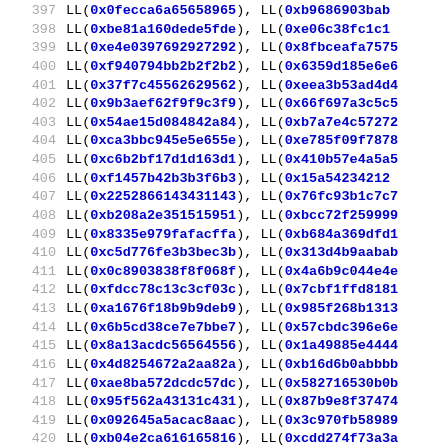Code listing lines 397-426 with hex constants using LL() macro
397    LL(0x0fecca6a65658965), LL(0xb9686903bab...
398    LL(0xbe81a160dede5fde), LL(0xe06c38fc1c1...
399    LL(0xe4e0397692927292), LL(0x8fbceafa7575...
400    LL(0xf940794bb2b2f2b2), LL(0x6359d185e6e6...
401    LL(0x37f7c45562629562), LL(0xeea3b53ad4d4...
402    LL(0x9b3aef62f9f9c3f9), LL(0x66f697a3c5c5...
403    LL(0x54ae15d084842a84), LL(0xb7a7e4c57272...
404    LL(0xca3bbc945e5e655e), LL(0xe785f09f7878...
405    LL(0xc6b2bf17d1d163d1), LL(0x410b57e4a5a5...
406    LL(0xf1457b42b3b3f6b3), LL(0x15a5423421...
407    LL(0x2252866143431143), LL(0x76fc93b1c7c7...
408    LL(0xb208a2e351515951), LL(0xbcc72f259999...
409    LL(0x8335e979fafacffa), LL(0xb684a369dfd1...
410    LL(0xc5d776fe3b3bec3b), LL(0x313d4b9aabab...
411    LL(0x0c8903838f8f068f), LL(0x4a6b9c044e4e...
412    LL(0xfdcc78c13c3cf03c), LL(0x7cbf1ffd8181...
413    LL(0xa1676f18b9b9deb9), LL(0x985f268b1313...
414    LL(0x6b5cd38ce7e7bbe7), LL(0x57cbdc396e6e...
415    LL(0x8a13acdc56564556), LL(0x1a49885e4444...
416    LL(0x4d8254672a2aa82a), LL(0xb16d6b0abbbb...
417    LL(0xae8ba572dcdc57dc), LL(0x582716530b0b...
418    LL(0x95f562a43131c431), LL(0x87b9e8f37474...
419    LL(0x092645a5acac8aac), LL(0x3c970fb58989...
420    LL(0xb04e2ca616165816), LL(0xcdd274f73a3a...
421    LL(0xa7ade0d77070dd70), LL(0xd954716fb6b6...
422    LL(0x2edb85e2cccc17cc), LL(0x2a5784684242...
423    LL(0x5d8850752828a028), LL(0xda31b8865c5c...
424    (empty line)
425    LL(0x18c07830d8181860), LL(0x2305af462623...
426    LL(0x874ca113cb878726), LL(0xb8a9626d11b9...